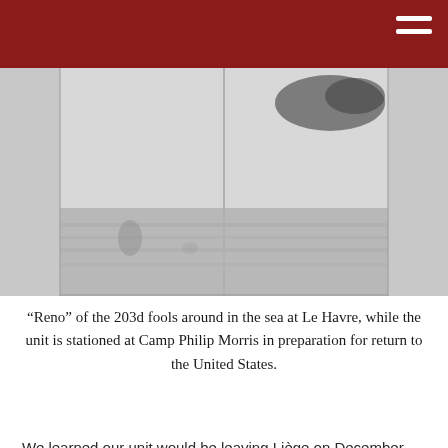[Figure (photo): Black and white photograph of soldiers or a person near water/sea at Le Havre, blurry and grainy image.]
“Reno” of the 203d fools around in the sea at Le Havre, while the unit is stationed at Camp Philip Morris in preparation for return to the United States.
We learned our unit would be leaving Liège on December 22, 1945. We arrived in Paris at 8 p.m., where we were directed to board Army trucks. Our convoy of vehicles left Paris at 9 p.m. and drove all night enroute to Camp Philip Morris near Le Havre, France. This camp was very large, and a center of constant activity, with troops arriving and troops departing 24 hours a day. On December 24 we received word that our unit was assigned to leave on the USAHS Jarrett M. Huddleston, a